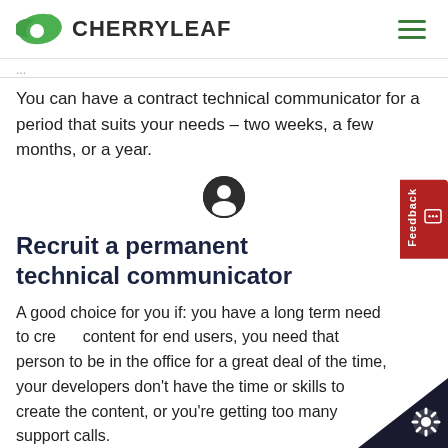CHERRYLEAF
You can have a contract technical communicator for a period that suits your needs – two weeks, a few months, or a year.
[Figure (illustration): A person/account circle icon centered on the page]
Recruit a permanent technical communicator
A good choice for you if: you have a long term need to create content for end users, you need that person to be in the office for a great deal of the time, your developers don't have the time or skills to create the content, or you're getting too many support calls.
There's no charge if you don't hire